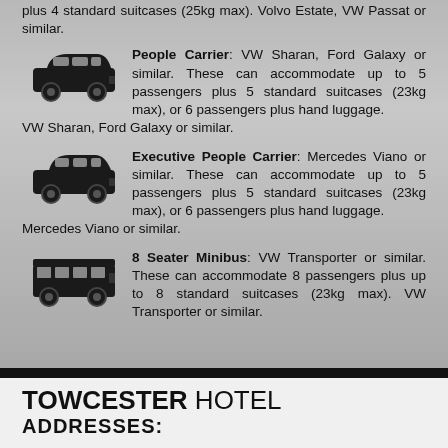plus 4 standard suitcases (25kg max). Volvo Estate, VW Passat or similar.
People Carrier: VW Sharan, Ford Galaxy or similar. These can accommodate up to 5 passengers plus 5 standard suitcases (23kg max), or 6 passengers plus hand luggage. VW Sharan, Ford Galaxy or similar.
Executive People Carrier: Mercedes Viano or similar. These can accommodate up to 5 passengers plus 5 standard suitcases (23kg max), or 6 passengers plus hand luggage. Mercedes Viano or similar.
8 Seater Minibus: VW Transporter or similar. These can accommodate 8 passengers plus up to 8 standard suitcases (23kg max). VW Transporter or similar.
TOWCESTER HOTEL ADDRESSES: